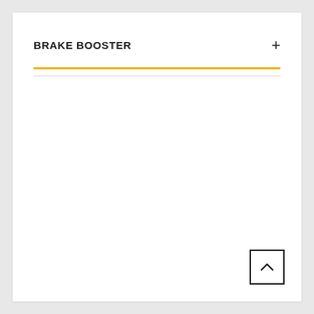BRAKE BOOSTER
[Figure (other): Back-to-top navigation button with upward chevron arrow inside a square border]